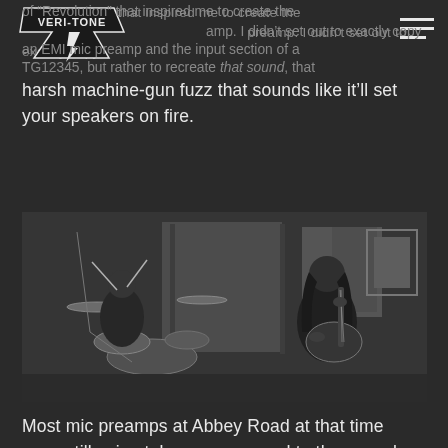Veri-Tone [logo] | Navigation hamburger menu
of “Revolution” that inspired me to create the preamp. I didn’t set out to exactly copy an EMI mic preamp and the input section of a TG12345, but rather to recreate that sound, that harsh machine-gun fuzz that sounds like it’ll set your speakers on fire.
[Figure (photo): Black and white photograph of two musicians in a recording studio. On the left, a drummer is seated behind a drum kit. On the right, a guitarist with long dark hair is playing an electric guitar. Studio equipment and room dividers are visible in the background.]
Most mic preamps at Abbey Road at that time were still using tubes, as opposed to the console, which was the first of its kind built all with